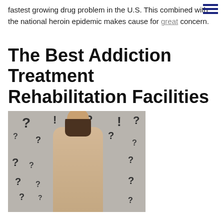fastest growing drug problem in the U.S. This combined with the national heroin epidemic makes cause for great concern.
The Best Addiction Treatment Rehabilitation Facilities
[Figure (photo): A young woman with long brown hair scratching her head, surrounded by question marks and exclamation points drawn on a gray background, looking confused or thoughtful.]